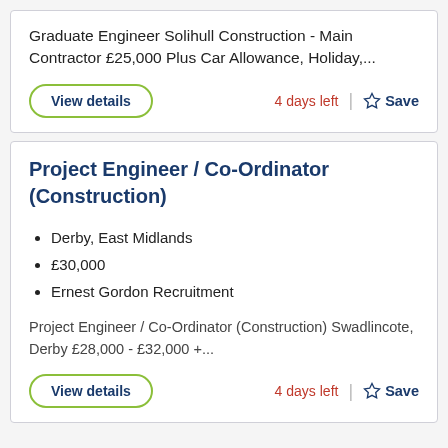Graduate Engineer Solihull Construction - Main Contractor £25,000 Plus Car Allowance, Holiday,...
View details
4 days left
Save
Project Engineer / Co-Ordinator (Construction)
Derby, East Midlands
£30,000
Ernest Gordon Recruitment
Project Engineer / Co-Ordinator (Construction) Swadlincote, Derby £28,000 - £32,000 +...
View details
4 days left
Save